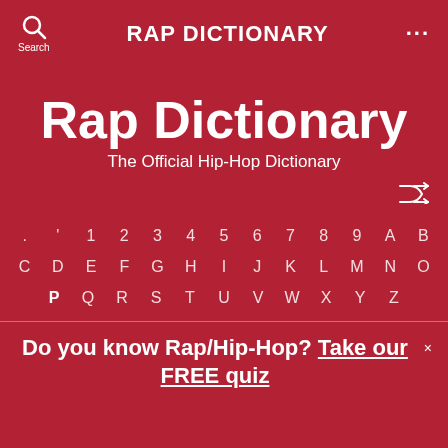RAP DICTIONARY
Rap Dictionary
The Official Hip-Hop Dictionary
[Figure (other): Shuffle/random icon]
. ' 1 2 3 4 5 6 7 8 9 A B C D E F G H I J K L M N O P Q R S T U V W X Y Z
Do you know Rap/Hip-Hop? Take our FREE quiz